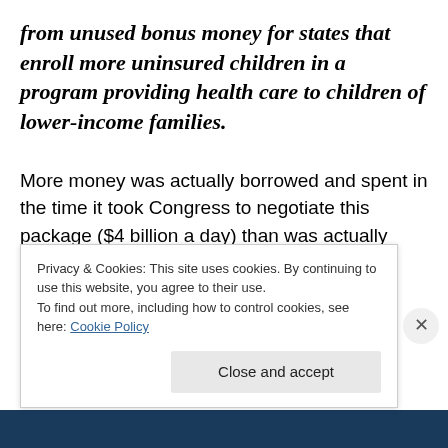from unused bonus money for states that enroll more uninsured children in a program providing health care to children of lower-income families.
More money was actually borrowed and spent in the time it took Congress to negotiate this package ($4 billion a day) than was actually “saved.”
And back in Washington, a new plan to…
Privacy & Cookies: This site uses cookies. By continuing to use this website, you agree to their use.
To find out more, including how to control cookies, see here: Cookie Policy
Close and accept